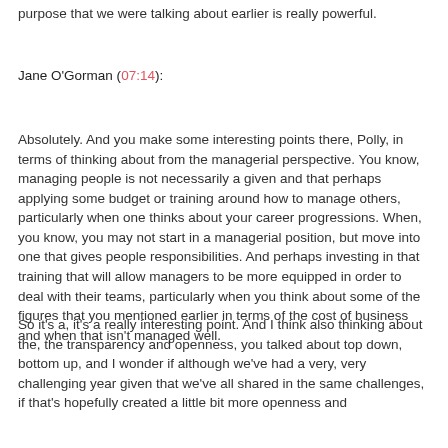purpose that we were talking about earlier is really powerful.
Jane O'Gorman (07:14):
Absolutely. And you make some interesting points there, Polly, in terms of thinking about from the managerial perspective. You know, managing people is not necessarily a given and that perhaps applying some budget or training around how to manage others, particularly when one thinks about your career progressions. When, you know, you may not start in a managerial position, but move into one that gives people responsibilities. And perhaps investing in that training that will allow managers to be more equipped in order to deal with their teams, particularly when you think about some of the figures that you mentioned earlier in terms of the cost of business and when that isn't managed well.
So it's a, it's a really interesting point. And I think also thinking about the, the transparency and openness, you talked about top down, bottom up, and I wonder if although we've had a very, very challenging year given that we've all shared in the same challenges, if that's hopefully created a little bit more openness and